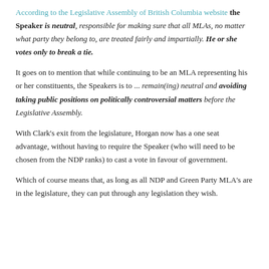According to the Legislative Assembly of British Columbia website the Speaker is neutral, responsible for making sure that all MLAs, no matter what party they belong to, are treated fairly and impartially. He or she votes only to break a tie.
It goes on to mention that while continuing to be an MLA representing his or her constituents, the Speakers is to ... remain(ing) neutral and avoiding taking public positions on politically controversial matters before the Legislative Assembly.
With Clark's exit from the legislature, Horgan now has a one seat advantage, without having to require the Speaker (who will need to be chosen from the NDP ranks) to cast a vote in favour of government.
Which of course means that, as long as all NDP and Green Party MLA's are in the legislature, they can put through any legislation they wish.